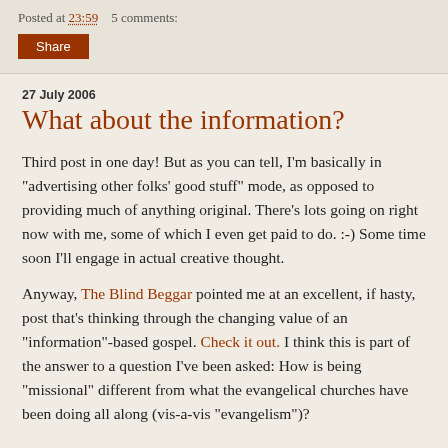Posted at 23:59    5 comments:
Share
27 July 2006
What about the information?
Third post in one day! But as you can tell, I'm basically in "advertising other folks' good stuff" mode, as opposed to providing much of anything original. There's lots going on right now with me, some of which I even get paid to do. :-) Some time soon I'll engage in actual creative thought.
Anyway, The Blind Beggar pointed me at an excellent, if hasty, post that's thinking through the changing value of an "information"-based gospel. Check it out. I think this is part of the answer to a question I've been asked: How is being "missional" different from what the evangelical churches have been doing all along (vis-a-vis "evangelism")?